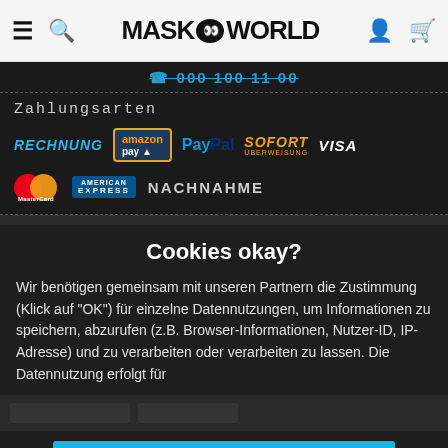MASK WORLD navigation bar with hamburger menu, search icon, logo, user icon, cart icon
☎ 000 100 11 00
Zahlungsarten
[Figure (infographic): Payment method logos: RECHNUNG, amazon pay, PayPal, SOFORT ÜBERWEISUNG, VISA, MasterCard, American Express, NACHNAHME]
Versandkosten
Cookies okay?
Wir benötigen gemeinsam mit unseren Partnern die Zustimmung (Klick auf "OK") für einzelne Datennutzungen, um Informationen zu speichern, abzurufen (z.B. Browser-Informationen, Nutzer-ID, IP-Adresse) und zu verarbeiten oder verarbeiten zu lassen. Die Datennutzung erfolgt für
OK